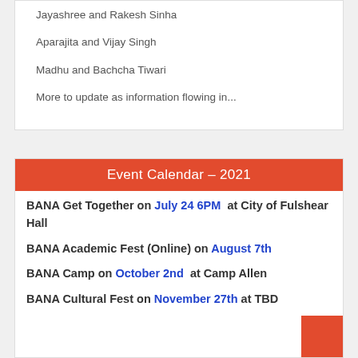Jayashree and Rakesh Sinha
Aparajita and Vijay Singh
Madhu and Bachcha Tiwari
More to update as information flowing in...
Event Calendar – 2021
BANA Get Together on July 24 6PM at City of Fulshear Hall
BANA Academic Fest (Online) on August 7th
BANA Camp on October 2nd at Camp Allen
BANA Cultural Fest on November 27th at TBD